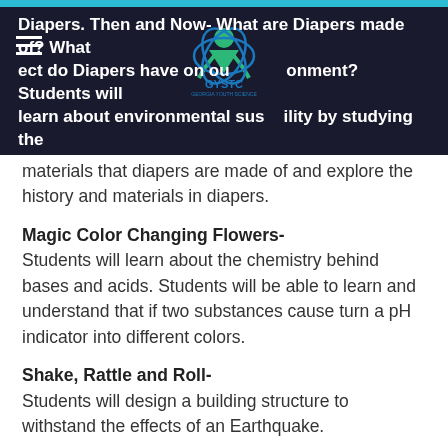Diapers. Then and Now- What are Diapers made of? What effect do Diapers have on our environment? Students will learn about environmental sustainability by studying the materials that diapers are made of and explore the history and materials in diapers.
Magic Color Changing Flowers-
Students will learn about the chemistry behind bases and acids. Students will be able to learn and understand that if two substances cause turn a pH indicator into different colors.
Shake, Rattle and Roll-
Students will design a building structure to withstand the effects of an Earthquake.
Creative Geometry Buttons-
Students will explore colorful Geometry Buttons to match, coordinate colors, study patterns, create shapes, in order to